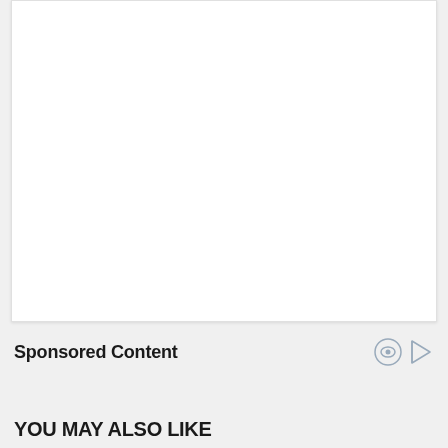[Figure (other): White card/panel area, blank content]
Sponsored Content
YOU MAY ALSO LIKE